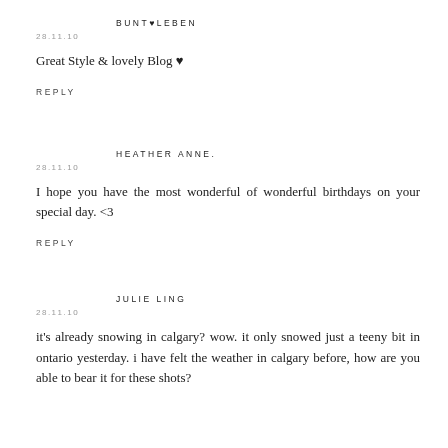BUNT♥LEBEN
28.11.10
Great Style & lovely Blog ♥
REPLY
HEATHER ANNE.
28.11.10
I hope you have the most wonderful of wonderful birthdays on your special day. <3
REPLY
JULIE LING
28.11.10
it's already snowing in calgary? wow. it only snowed just a teeny bit in ontario yesterday. i have felt the weather in calgary before, how are you able to bear it for these shots?